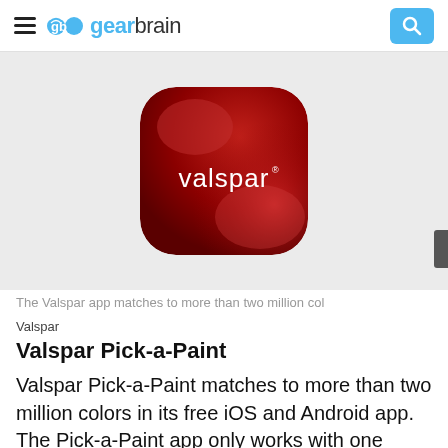gearbrain
[Figure (photo): Valspar app icon: a rounded-square red icon with 'valspar' text in white, photographed against a light grey background.]
The Valspar app matches to more than two million col
Valspar
Valspar Pick-a-Paint
Valspar Pick-a-Paint matches to more than two million colors in its free iOS and Android app. The Pick-a-Paint app only works with one brand, Valspa